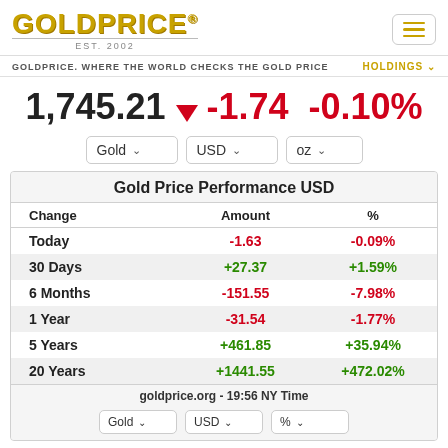GOLDPRICE EST. 2002
GOLDPRICE. WHERE THE WORLD CHECKS THE GOLD PRICE   HOLDINGS
1,745.21 ▼ -1.74 -0.10%
| Change | Amount | % |
| --- | --- | --- |
| Today | -1.63 | -0.09% |
| 30 Days | +27.37 | +1.59% |
| 6 Months | -151.55 | -7.98% |
| 1 Year | -31.54 | -1.77% |
| 5 Years | +461.85 | +35.94% |
| 20 Years | +1441.55 | +472.02% |
goldprice.org - 19:56 NY Time